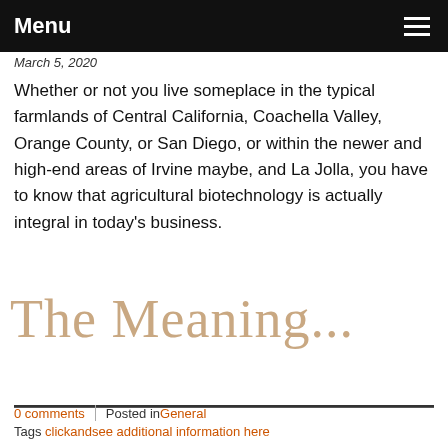Menu
March 5, 2020
Whether or not you live someplace in the typical farmlands of Central California, Coachella Valley, Orange County, or San Diego, or within the newer and high-end areas of Irvine maybe, and La Jolla, you have to know that agricultural biotechnology is actually integral in today's business.
The Meaning...
Read more
0 comments | Posted in General
Tags clickandsee additional information here